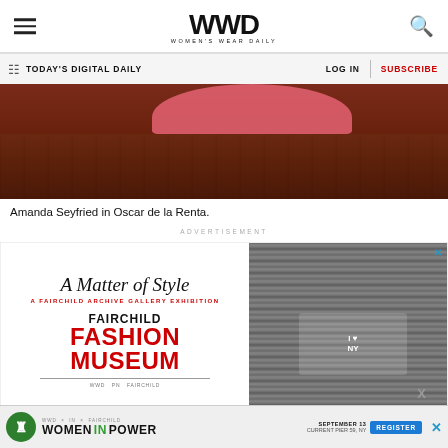WWD — Women's Wear Daily
TODAY'S DIGITAL DAILY | LOG IN | SUBSCRIBE
[Figure (photo): Partial photo showing a pink/red garment on a wooden floor background, cropped at top]
Amanda Seyfried in Oscar de la Renta.
ADVERTISEMENT
[Figure (other): Advertisement for Fairchild Fashion Museum: 'A Matter of Style — A Fairchild Archive Gallery Exhibition' with a black and white photo of a person in an 'I Love NY' t-shirt]
[Figure (other): Bottom banner advertisement: Women In Power event, September 13, Current Pier 59 NY, with Register button]